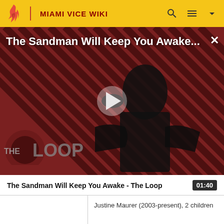MIAMI VICE WIKI
[Figure (screenshot): Video thumbnail for 'The Sandman Will Keep You Awake - The Loop' featuring a dark-cloaked figure on a diagonal red-brown striped background with THE LOOP watermark. Play button overlay in center.]
The Sandman Will Keep You Awake - The Loop   01:40
|  | Justine Maurer (2003-present), 2 children |